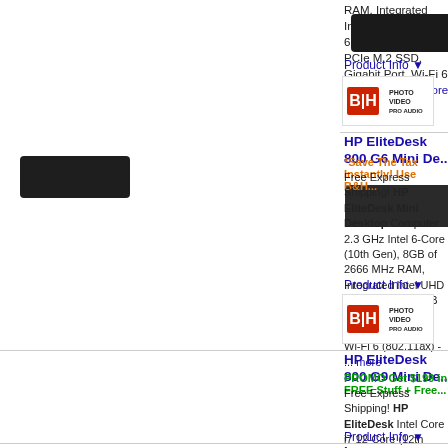RAM, Integrated Intel UHD Graphics 6, 512GB NVMe PCIe M.2 SSD, Gigabit Port, Wi-Fi 6 (802.11ax) - ... more
Product Info ▼
[Figure (logo): B&H Photo Video Pro Audio logo]
HP EliteDesk 800 G6 Mini De...
*Save The Tax Instantly! Use B&amp;H...
Free Express Shipping! HP EliteDesk Mini Desktop Computer 2.3 GHz Intel 6-Core (10th Gen), 8GB of 2666 MHz RAM, Integrated Intel UHD Graphics 6, 256GB NVMe PCIe M.2 SSD, Gigabit Port, Wi-Fi 6 (802.11ax) - ... more
Product Info ▼
[Figure (logo): B&H Photo Video Pro Audio logo]
HP EliteDesk 800 G9 Mini De...
PROMO Get $199 in FREE Stuff + Free...
Best Seller
Free Express Shipping! HP EliteDesk Intel Core i7 12-Core (12th Gen), 16G Intel UHD Graphics 770, 512GB PCIe 6E (802.11ax) - ... more
Product Info ▼
Lenovo IdeaCentre Mini 5i De...